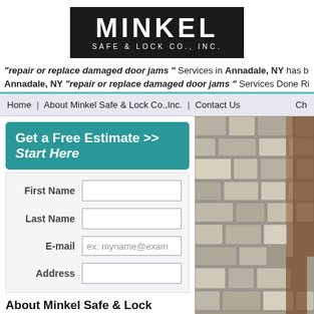[Figure (logo): Minkel Safe & Lock Co., Inc. logo — white text on black background]
"repair or replace damaged door jams " Services in Annadale, NY has b Annadale, NY "repair or replace damaged door jams " Services Done Ri
Home | About Minkel Safe & Lock Co.,Inc. | Contact Us  Ch
Get a Free Estimate >> Start Here
First Name
Last Name
E-mail  ex: myname@exam
Address
About Minkel Safe & Lock Co.,Inc.
Minkel Safe & Lock Co.,Inc. is a full service security and locksmith center providing you with repair or replace damaged door jams services within the Annadale, NY area. We off a broader range of repair or replace damaged door jams services in the Annadale, NY area and are happy
[Figure (photo): Stone wall and wooden door frame architectural photo]